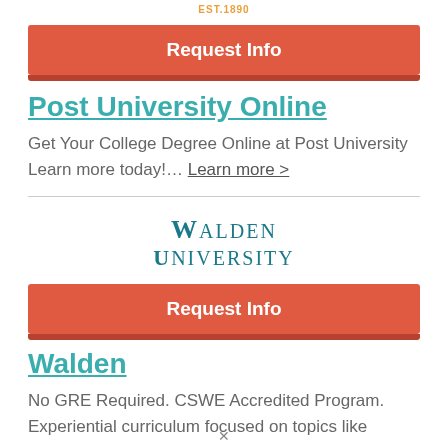EST. 1890
Request Info
Post University Online
Get Your College Degree Online at Post University Learn more today!… Learn more >
[Figure (logo): Walden University logo with teal text in serif font]
Request Info
Walden
No GRE Required. CSWE Accredited Program. Experiential curriculum focused on topics like